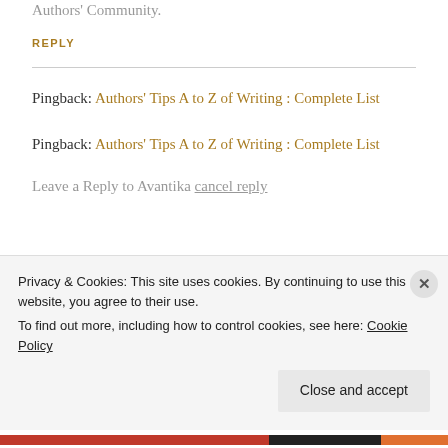Authors' Community.
REPLY
Pingback: Authors' Tips A to Z of Writing : Complete List
Pingback: Authors' Tips A to Z of Writing : Complete List
Leave a Reply to Avantika cancel reply
Privacy & Cookies: This site uses cookies. By continuing to use this website, you agree to their use.
To find out more, including how to control cookies, see here: Cookie Policy
Close and accept